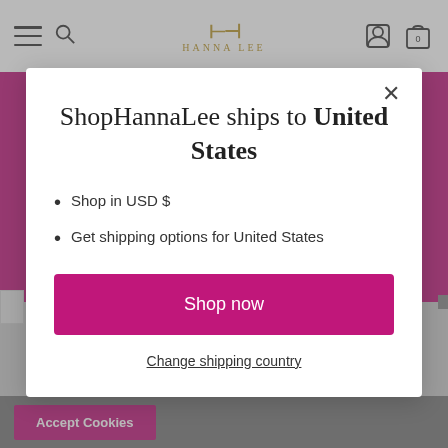HANNA LEE
ShopHannaLee ships to United States
Shop in USD $
Get shipping options for United States
Shop now
Change shipping country
Accept Cookies